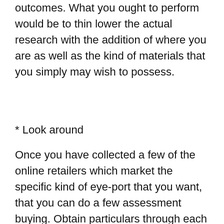outcomes. What you ought to perform would be to thin lower the actual research with the addition of where you are as well as the kind of materials that you simply may wish to possess.
* Look around
Once you have collected a few of the online retailers which market the specific kind of eye-port that you want, that you can do a few assessment buying. Obtain particulars through each one of the shop for example cost, delivery length, high quality associated with item, manufacturer, guarantee, and